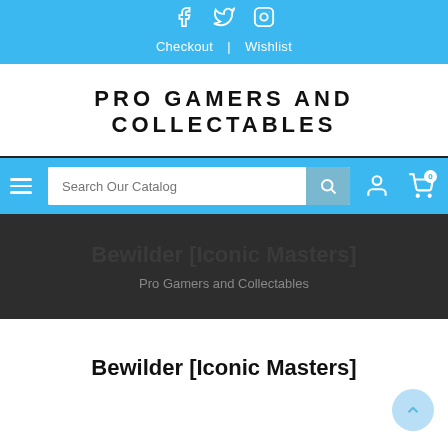Facebook Twitter Instagram | Checkout | Wishlist
PRO GAMERS AND COLLECTABLES
[Figure (screenshot): Search bar with hamburger menu, search input field reading 'Search Our Catalog', search button, user icon, and cart icon with 0 badge]
[Figure (screenshot): Dark hero banner with bold text 'Bewilder [Iconic Masters]' and subtitle 'Pro Gamers and Collectables']
Bewilder [Iconic Masters]